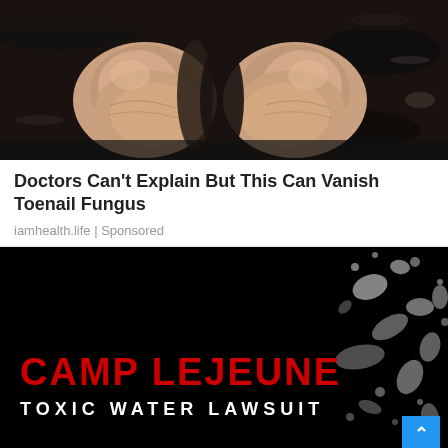[Figure (photo): Close-up photo of two human heels/feet from behind, wet, on dark water or wet surface background]
Doctors Can’t Explain But This Can Vanish Toenail Fungus
iamhealth.life | Sponsored
[Figure (photo): Advertisement image with black background and water splash on the right side. Red bold text reads CAMP LEJEUNE, white text below reads TOXIC WATER LAWSUIT. Blue scroll-up button in the bottom right corner.]